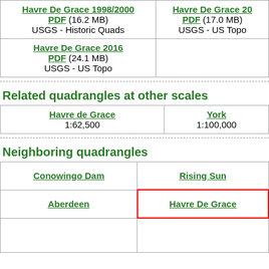| Havre De Grace 1998/2000
PDF (16.2 MB)
USGS - Historic Quads | Havre De Grace 20...
PDF (17.0 MB)
USGS - US Topo |
| Havre De Grace 2016
PDF (24.1 MB)
USGS - US Topo |  |
Related quadrangles at other scales
| Havre de Grace
1:62,500 | York
1:100,000 |
Neighboring quadrangles
| Conowingo Dam | Rising Sun |
| Aberdeen | Havre De Grace |